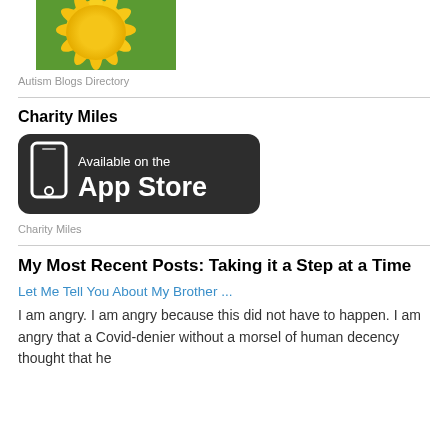[Figure (photo): Yellow flower/sunflower photo at top of page]
Autism Blogs Directory
[Figure (logo): Available on the App Store badge - dark rounded rectangle with phone icon and text]
Charity Miles
Charity Miles
My Most Recent Posts: Taking it a Step at a Time
Let Me Tell You About My Brother ...
I am angry. I am angry because this did not have to happen. I am angry that a Covid-denier without a morsel of human decency thought that he